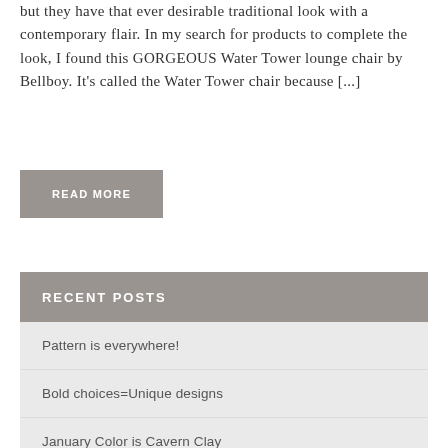but they have that ever desirable traditional look with a contemporary flair. In my search for products to complete the look, I found this GORGEOUS Water Tower lounge chair by Bellboy. It's called the Water Tower chair because [...]
READ MORE
RECENT POSTS
Pattern is everywhere!
Bold choices=Unique designs
January Color is Cavern Clay
Sherwin Williams -Color of the month